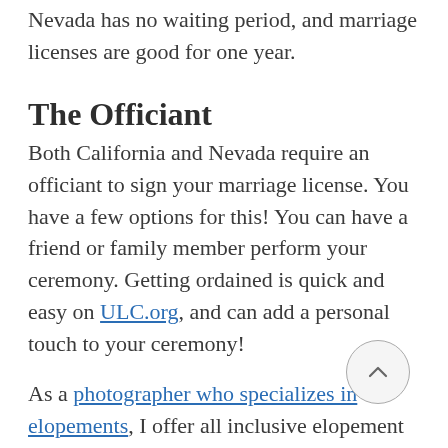Nevada has no waiting period, and marriage licenses are good for one year.
The Officiant
Both California and Nevada require an officiant to sign your marriage license. You have a few options for this! You can have a friend or family member perform your ceremony. Getting ordained is quick and easy on ULC.org, and can add a personal touch to your ceremony!
As a photographer who specializes in elopements, I offer all inclusive elopement packages, with my husband as the officiant! So you don't have to worry about finding someone who's up for whatever adventure you have